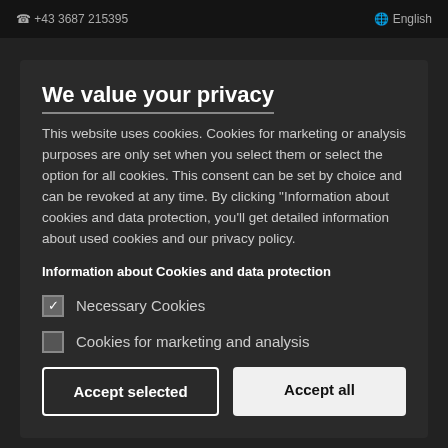+43 3687 215395   English
We value your privacy
This website uses cookies. Cookies for marketing or analysis purposes are only set when you select them or select the option for all cookies. This consent can be set by choice and can be revoked at any time. By clicking “Information about cookies and data protection, you'll get detailed information about used cookies and our privacy policy.
Information about Cookies and data protection
Necessary Cookies
Cookies for marketing and analysis
Accept selected
Accept all